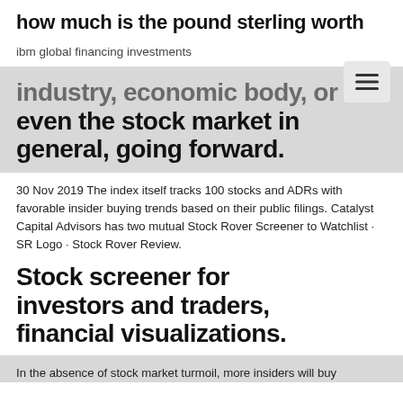how much is the pound sterling worth
ibm global financing investments
[Figure (other): Hamburger menu navigation button icon]
industry, economic body, or even the stock market in general, going forward.
30 Nov 2019 The index itself tracks 100 stocks and ADRs with favorable insider buying trends based on their public filings. Catalyst Capital Advisors has two mutual Stock Rover Screener to Watchlist · SR Logo · Stock Rover Review.
Stock screener for investors and traders, financial visualizations.
In the absence of stock market turmoil, more insiders will buy